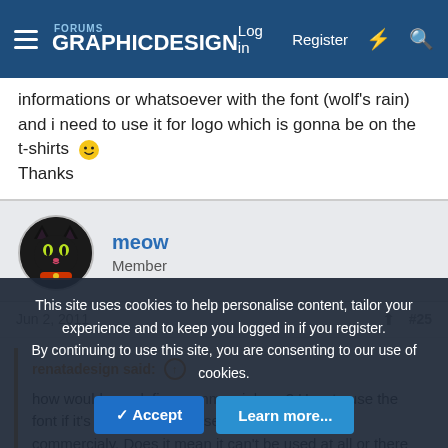Graphic Design Forums — Log in | Register
informations or whatsoever with the font (wolf's rain) and i need to use it for logo which is gonna be on the t-shirts 🙂 Thanks
meow
Member
Jun 2, 2011	#25
renatadesign said: ↑
how would you define commercial use? How to use the font if it's free for private use but can't be used commercialy. Does it mean it can't be used at all or there are some conditions, no informations or whatsoever with the font (wolf's rain) and i need to use it for logo...
This site uses cookies to help personalise content, tailor your experience and to keep you logged in if you register.
By continuing to use this site, you are consenting to our use of cookies.